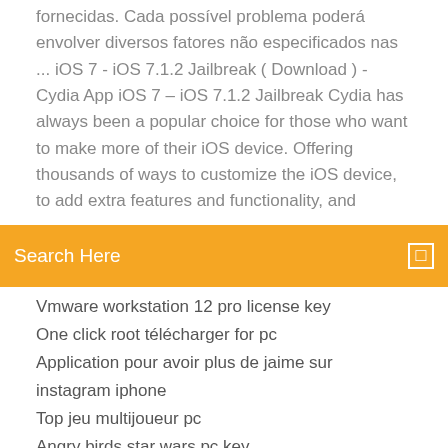fornecidas. Cada possível problema poderá envolver diversos fatores não especificados nas ... iOS 7 - iOS 7.1.2 Jailbreak ( Download ) - Cydia App iOS 7 – iOS 7.1.2 Jailbreak Cydia has always been a popular choice for those who want to make more of their iOS device. Offering thousands of ways to customize the iOS device, to add extra features and functionality, and
Search Here
Vmware workstation 12 pro license key
One click root télécharger for pc
Application pour avoir plus de jaime sur instagram iphone
Top jeu multijoueur pc
Angry birds star wars pc key
Jeu de goal de foot
Télécharger windows 7 activator 64 bit free
Antivirus mac gratuit
Comment supprimer les pubs intempestives sur mon ordinateur